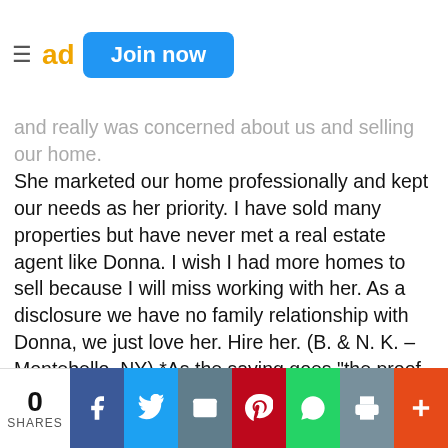ad | Join now
and really was concerned about us and selling our home. She marketed our home professionally and kept our needs as her priority. I have sold many properties but have never met a real estate agent like Donna. I wish I had more homes to sell because I will miss working with her. As a disclosure we have no family relationship with Donna, we just love her. Hire her. (B. & N. K. – Montebello, NY) *As the saying goes "the proof is in the pudding". My Nyack condo sold for full price in less than 2 months. The handling of my account from listing right through to closing was executed with extreme professionalism and courtesy. Donna Cox exemplifies the term "Realtor". Donna picks up on phrases that you mention regarding the property and incorporates them into the description of the property. The care and detail of the photography contributes greatly to how the property is presented to the market. She could give a
0 SHARES | Facebook | Twitter | Email | Pinterest | WhatsApp | Print | +